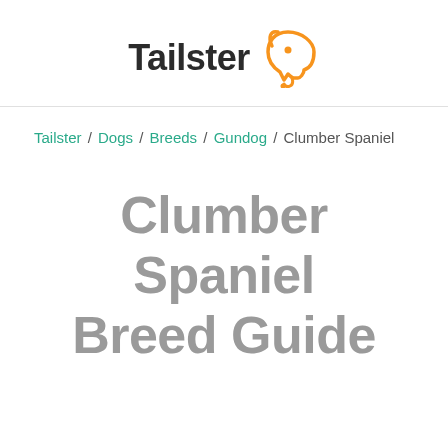[Figure (logo): Tailster logo with dog outline icon in orange and text 'Tailster' in dark bold font]
Tailster / Dogs / Breeds / Gundog / Clumber Spaniel
Clumber Spaniel Breed Guide